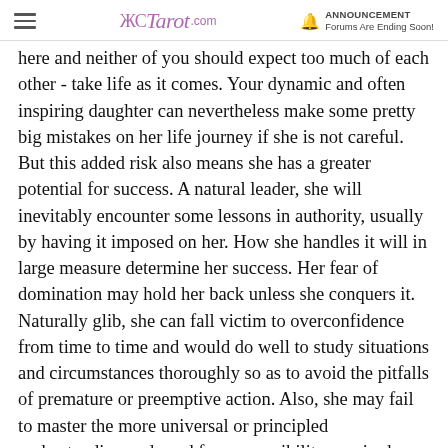Tarot.com — ANNOUNCEMENT Forums Are Ending Soon!
here and neither of you should expect too much of each other - take life as it comes. Your dynamic and often inspiring daughter can nevertheless make some pretty big mistakes on her life journey if she is not careful. But this added risk also means she has a greater potential for success. A natural leader, she will inevitably encounter some lessons in authority, usually by having it imposed on her. How she handles it will in large measure determine her success. Her fear of domination may hold her back unless she conquers it. Naturally glib, she can fall victim to overconfidence from time to time and would do well to study situations and circumstances thoroughly so as to avoid the pitfalls of premature or preemptive action. Also, she may fail to master the more universal or principled understanding and need for responsibility required